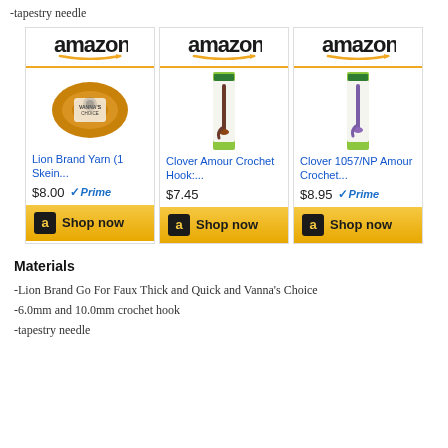-tapestry needle
[Figure (screenshot): Three Amazon product cards in a row: Lion Brand Yarn (1 Skein... $8.00 Prime, Clover Amour Crochet Hook:... $7.45, Clover 1057/NP Amour Crochet... $8.95 Prime, each with Shop now button]
Materials
-Lion Brand Go For Faux Thick and Quick and Vanna's Choice
-6.0mm and 10.0mm crochet hook
-tapestry needle